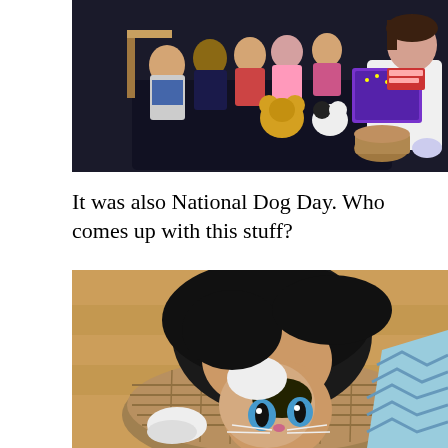[Figure (photo): A woman sitting on a dark floor reading a Peppa Pig book ('Peppa's First Sleepover') to a group of young toddlers/babies seated on chairs and the floor, with stuffed animals and a basket nearby.]
It was also National Dog Day. Who comes up with this stuff?
[Figure (photo): A black, white and brown calico cat lying curled up in a wicker/rattan basket or bed with a blue chevron-patterned blanket, looking up at the camera from a wooden floor setting.]